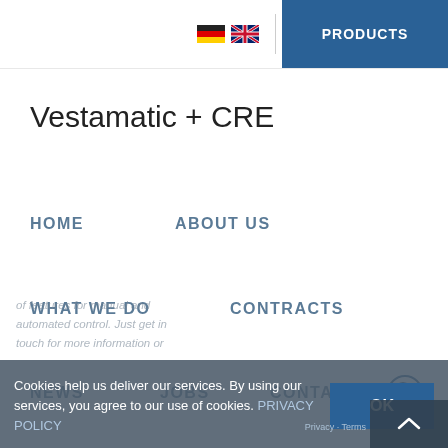PRODUCTS
Vestamatic + CRE
HOME
ABOUT US
WHAT WE DO
CONTRACTS
NEWS
JOBS
CONTACT
Cookies help us deliver our services. By using our services, you agree to our use of cookies. PRIVACY POLICY
OK